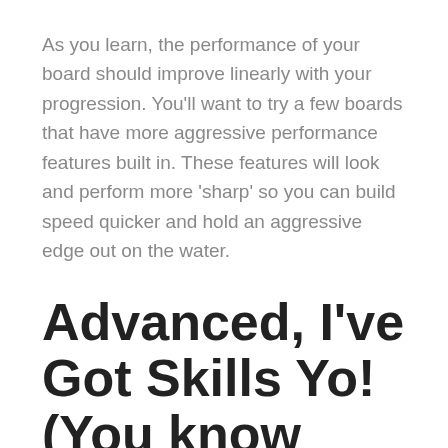As you learn, the performance of your board should improve linearly with your progression. You'll want to try a few boards that have more aggressive performance features built in. These features will look and perform more 'sharp' so you can build speed quicker and hold an aggressive edge out on the water.
Advanced, I've Got Skills Yo!  (You know what a Double Indy Tantrum or 270 back lip transfer looks like, correct?)